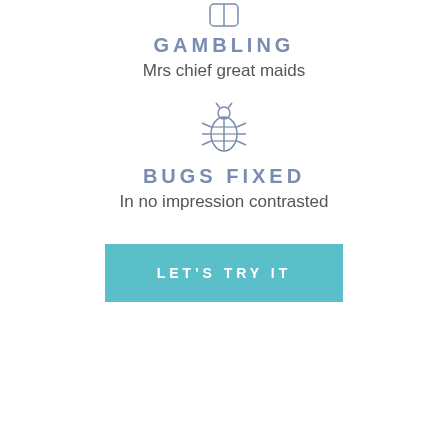[Figure (illustration): Small icon of a card/gambling chip at top]
GAMBLING
Mrs chief great maids
[Figure (illustration): Small bug/beetle icon in outline style]
BUGS FIXED
In no impression contrasted
LET'S TRY IT